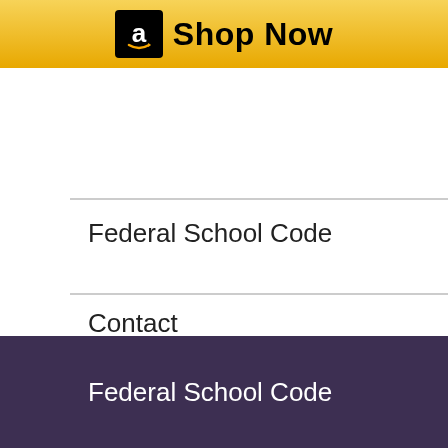[Figure (screenshot): Amazon 'Shop Now' banner button with black Amazon logo box and golden/yellow gradient background]
Federal School Code
Contact
Federal School Code